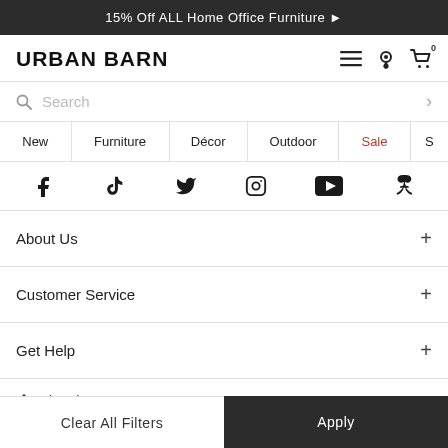15% Off ALL Home Office Furniture ▶
URBAN BARN
Search
New
Furniture
Décor
Outdoor
Sale
S...
[Figure (other): Social media icons: Facebook, TikTok, Twitter, Instagram, YouTube, Pinterest]
About Us +
Customer Service +
Get Help +
Virtual St...
Clear All Filters
Apply